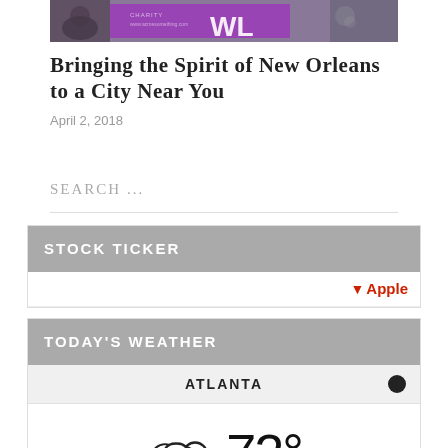[Figure (photo): Cropped photo showing a purple charity event banner with text, people in background]
Bringing the Spirit of New Orleans to a City Near You
April 2, 2018
SEARCH ...
STOCK TICKER
↓ Apple
TODAY'S WEATHER
ATLANTA
72°
cloudy